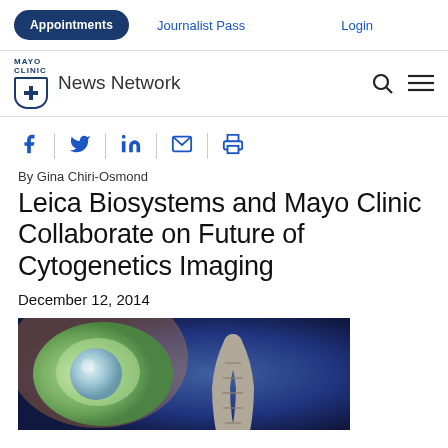Appointments | Journalist Pass | Login
MAYO CLINIC News Network
[Figure (infographic): Social sharing icons: Facebook, Twitter, LinkedIn, Email, Print]
By Gina Chiri-Osmond
Leica Biosystems and Mayo Clinic Collaborate on Future of Cytogenetics Imaging
December 12, 2014
[Figure (photo): Close-up scientific illustration of a cell and chromosome for cytogenetics imaging article]